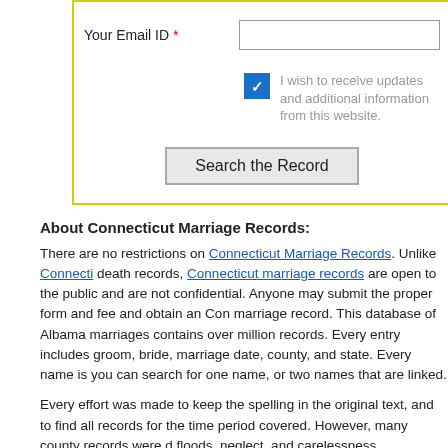Your Email ID *
I wish to receive updates and additional information from this website.
Search the Record
About Connecticut Marriage Records:
There are no restrictions on Connecticut Marriage Records. Unlike Connecticut death records, Connecticut marriage records are open to the public and are not confidential. Anyone may submit the proper form and fee and obtain an Connecticut marriage record. This database of Albama marriages contains over million records. Every entry includes groom, bride, marriage date, county, and state. Every name is indexed, so you can search for one name, or two names that are linked.
Every effort was made to keep the spelling in the original text, and to find all available records for the time period covered. However, many county records were destroyed by fires, floods, neglect, and carelessness.
Connecticut Marriage Records Information by following County :
- Fairfield - Hartford - Litchfield - Middlesex - New Haven - New London - Tolland - Wir...
The purpose of this collection is to provide a time and place for as many ma...